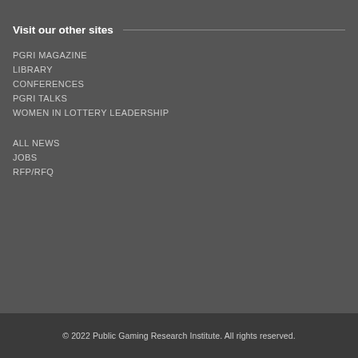Visit our other sites
PGRI MAGAZINE
LIBRARY
CONFERENCES
PGRI TALKS
WOMEN IN LOTTERY LEADERSHIP
ALL NEWS
JOBS
RFP/RFQ
© 2022 Public Gaming Research Institute. All rights reserved.